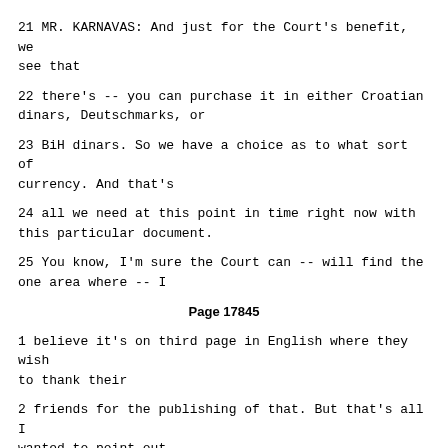21 MR. KARNAVAS: And just for the Court's benefit, we see that
22 there's -- you can purchase it in either Croatian dinars, Deutschmarks, or
23 BiH dinars. So we have a choice as to what sort of currency. And that's
24 all we need at this point in time right now with this particular document.
25 You know, I'm sure the Court can -- will find the one area where -- I
Page 17845
1 believe it's on third page in English where they wish to thank their
2 friends for the publishing of that. But that's all I wanted to point out
3 for that document.
4 Now, if we go to the next document. It's 1D 01415. And again
5 very quickly.
6 You have the original version. Okay. "Mostar